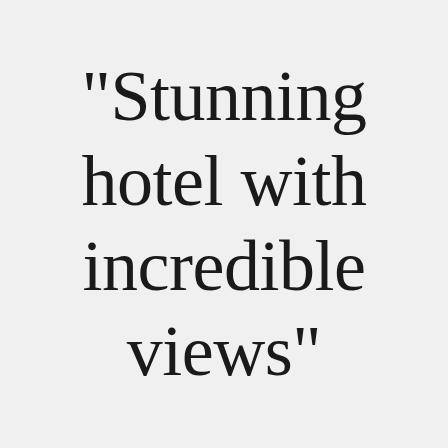"Stunning hotel with incredible views"